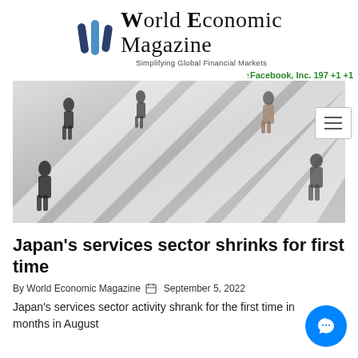World Economic Magazine — Simplifying Global Financial Markets
↑Facebook, Inc. 197 +1 +1
[Figure (photo): Aerial view of pedestrians walking across a busy crosswalk, motion blur, black and white striped crossing]
Japan's services sector shrinks for first time
By World Economic Magazine   September 5, 2022
Japan's services sector activity shrank for the first time in months in August